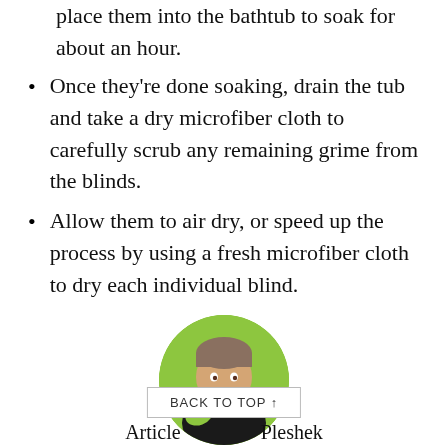place them into the bathtub to soak for about an hour.
Once they’re done soaking, drain the tub and take a dry microfiber cloth to carefully scrub any remaining grime from the blinds.
Allow them to air dry, or speed up the process by using a fresh microfiber cloth to dry each individual blind.
[Figure (photo): Circular profile photo of Brandon Pleshek, a person wearing a black shirt and green cleaning gloves, holding a white cloth, smiling in front of a green background.]
Brandon Pleshek
Article Pleshek